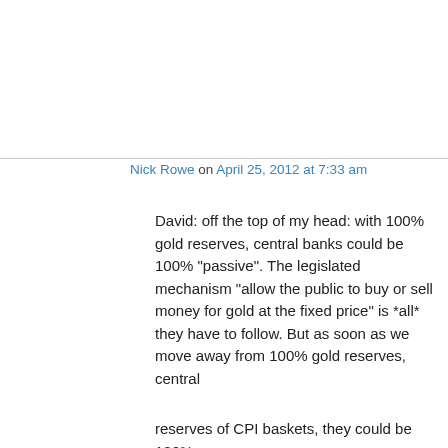Nick Rowe on April 25, 2012 at 7:33 am
David: off the top of my head: with 100% gold reserves, central banks could be 100% “passive”. The legislated mechanism “allow the public to buy or sell money for gold at the fixed price” is *all* they have to follow. But as soon as we move away from 100% gold reserves, central
Privacy & Cookies: This site uses cookies. By continuing to use this website, you agree to their use.
To find out more, including how to control cookies, see here: Cookie Policy
Close and accept
reserves of CPI baskets, they could be 100%